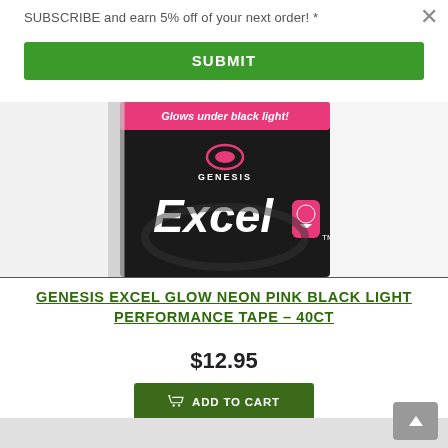SUBSCRIBE and earn 5% off of your next order! *
SUBMIT
[Figure (photo): Genesis Excel Glow Neon Pink Black Light Performance Tape product packaging — black cylindrical roll with pink label reading 'Glows under black light', Genesis logo, and 'Excel' in white letters with a pink lightbulb icon.]
GENESIS EXCEL GLOW NEON PINK BLACK LIGHT PERFORMANCE TAPE – 40CT
$12.95
ADD TO CART